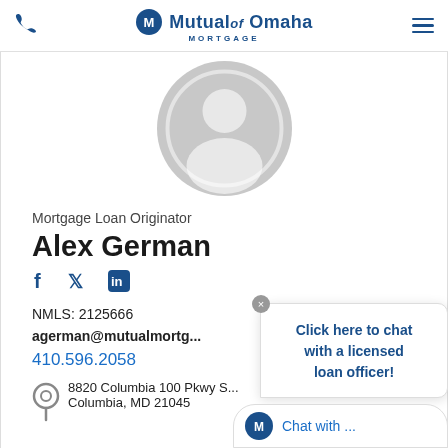Mutual of Omaha Mortgage
[Figure (illustration): Generic gray profile/avatar placeholder circle with white silhouette of a person inside]
Mortgage Loan Originator
Alex German
[Figure (other): Social media icons: Facebook, Twitter, LinkedIn]
NMLS: 2125666
agerman@mutualmortg...
410.596.2058
8820 Columbia 100 Pkwy S...
Columbia, MD 21045
Click here to chat with a licensed loan officer!
Chat with ...